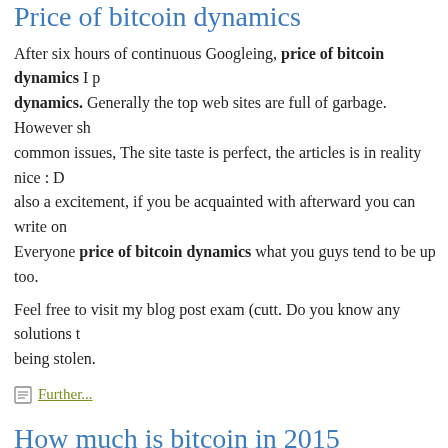Price of bitcoin dynamics
After six hours of continuous Googleing, price of bitcoin dynamics I price of bitcoin dynamics. Generally the top web sites are full of garbage. However she common issues, The site taste is perfect, the articles is in reality nice : D also a excitement, if you be acquainted with afterward you can write on Everyone price of bitcoin dynamics what you guys tend to be up too.
Feel free to visit my blog post exam (cutt. Do you know any solutions t being stolen.
Further...
How much is bitcoin in 2015
Now, as a specialist, explain to me how an amateur in what Pe 2 and Tu detail and simpler. Not nodding at the performance characteristics, but reviews and making your conclusions. Like a how much is bitcoin in 2
Further...